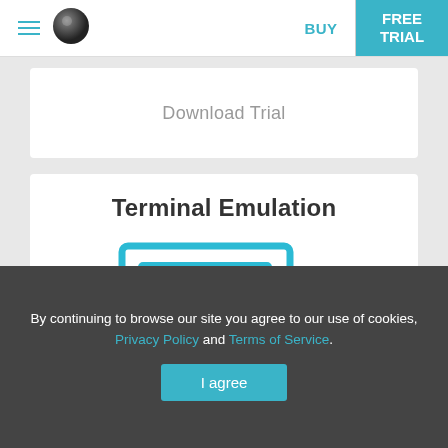BUY | FREE TRIAL
Download Trial
Terminal Emulation
[Figure (illustration): Blue icon showing a desktop monitor with a code/terminal window displaying </> symbols, flanked by a tablet and a smartphone, all in solid blue color.]
Emulation software enhances it to your .NET applications. It also adds exclusive Terminal Emulation tools to your WinForms app.
By continuing to browse our site you agree to our use of cookies, Privacy Policy and Terms of Service.
I agree